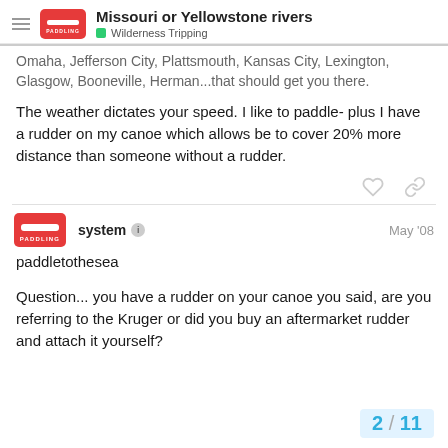Missouri or Yellowstone rivers | Wilderness Tripping
Omaha, Jefferson City, Plattsmouth, Kansas City, Lexington, Glasgow, Booneville, Herman...that should get you there.
The weather dictates your speed. I like to paddle- plus I have a rudder on my canoe which allows be to cover 20% more distance than someone without a rudder.
system  May '08
paddletothesea
Question... you have a rudder on your canoe you said, are you referring to the Kruger or did you buy an aftermarket rudder and attach it yourself?
2 / 11